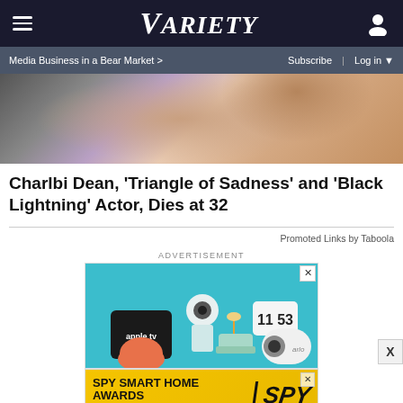Variety | Media Business in a Bear Market > | Subscribe | Log in
[Figure (photo): Partial photo of a person with long hair, cropped to show shoulders and hair, skin tones in warm brown colors]
Charlbi Dean, 'Triangle of Sadness' and 'Black Lightning' Actor, Dies at 32
Promoted Links by Taboola
ADVERTISEMENT
[Figure (photo): Smart home devices advertisement showing Arlo camera, Apple TV, Google Home mini, a small sofa, lamp, clock showing 11:53, on a teal background]
[Figure (photo): SPY Smart Home Awards - 75 Best Gadgets of 2022 advertisement banner with yellow background and SPY logo]